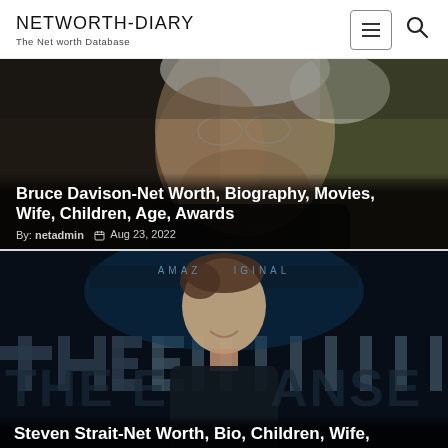NETWORTH-DIARY
The Net worth Database
[Figure (photo): Close-up portrait of an elderly man with white/gray hair and stubble, dark background]
Bruce Davison-Net Worth, Biography, Movies, Wife, Children, Age, Awards
By: netadmin  Aug 23, 2022
[Figure (photo): Young man smiling at an Amazon Original 'The Expanse' event, dark teal/black background with large text 'THE EXPANSE']
Steven Strait-Net Worth, Bio, Children, Wife,